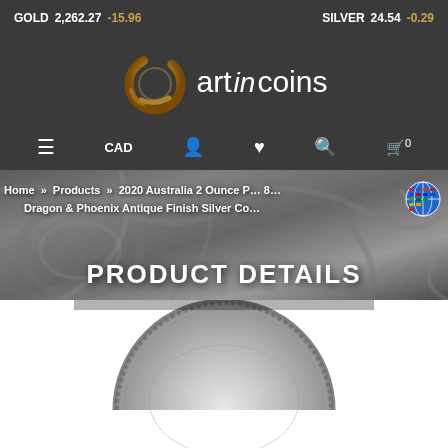GOLD 2,262.27 -15.96   SILVER 24.54 -0.29
[Figure (logo): Art in Coins logo: golden circular brushstroke with text 'art in coins']
≡  CAD  👤  ♥  🔍  🛒 0
Home » Products » 2020 Australia 2 Ounce P… Dragon & Phoenix Antique Finish Silver Co…
PRODUCT DETAILS
[Figure (photo): Bottom portion of a silver antique finish coin showing detailed relief engraving, partially visible at bottom of page]